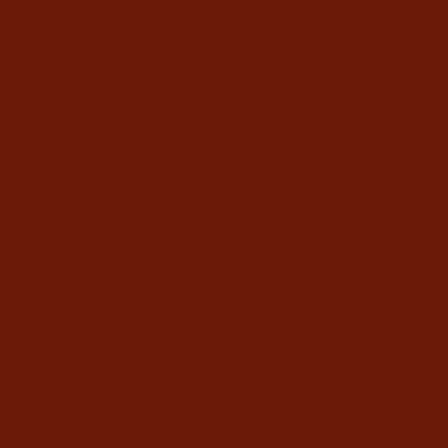| City | School |
| --- | --- |
| Kewanee | Central Junior Hig… |
| Kewanee | Visitation Catholic… |
| Kewanee | Wethersfield Jr. Hi… |
| Kickapoo | St. Mary's School |
| Kincaid | South Fork Junior… |
| Kinderhook | Western Junior Hig… |
| Kinmundy | South Central Midd… |
| Knoxville | Knoxville Junior Hi… |
| La Grange | Gurrie Middle Scho… |
| La Grange | St. Cletus Catholic… |
| La Harpe | La Harpe Junior H… |
| La Moille | Allen Junior High S… |
| Ladd | Ladd Grade Schoo… |
| LaGrange | St. Francis Xavier… |
| Lake Bluff | Lake Bluff Middle S… |
| Lake Forest | Deer Path Middle S… |
| Lake in the Hills | Marlowe Middle Sc… |
| Lake Villa | Peter J. Palombi S… |
| Lake Villa | Prince of Peace Ca… |
| Lake Zurich | Lake Zurich MS Sc… |
| Lake Zurich | St. Francis deSale… |
| Lapark | Eastland Jr. High S… |